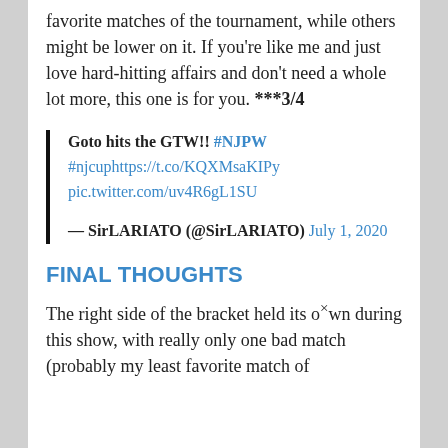favorite matches of the tournament, while others might be lower on it. If you're like me and just love hard-hitting affairs and don't need a whole lot more, this one is for you. ***3/4
Goto hits the GTW!! #NJPW #njcuphttps://t.co/KQXMsaKIPy pic.twitter.com/uv4R6gL1SU — SirLARIATO (@SirLARIATO) July 1, 2020
FINAL THOUGHTS
The right side of the bracket held its own during this show, with really only one bad match (probably my least favorite match of